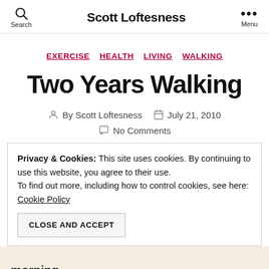Search  Scott Loftesness  Menu
EXERCISE  HEALTH  LIVING  WALKING
Two Years Walking
By Scott Loftesness  July 21, 2010
No Comments
Privacy & Cookies: This site uses cookies. By continuing to use this website, you agree to their use. To find out more, including how to control cookies, see here: Cookie Policy
CLOSE AND ACCEPT
morning